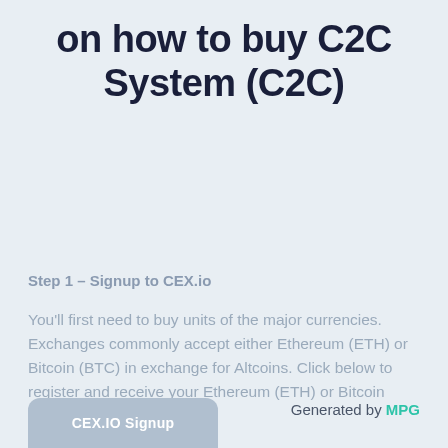on how to buy C2C System (C2C)
Step 1 – Signup to CEX.io
You'll first need to buy units of the major currencies. Exchanges commonly accept either Ethereum (ETH) or Bitcoin (BTC) in exchange for Altcoins. Click below to register and receive your Ethereum (ETH) or Bitcoin (BTC).
Generated by MPG